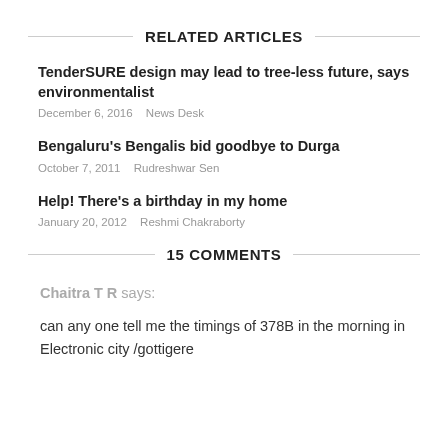RELATED ARTICLES
TenderSURE design may lead to tree-less future, says environmentalist
December 6, 2016   News Desk
Bengaluru's Bengalis bid goodbye to Durga
October 7, 2011   Rudreshwar Sen
Help! There's a birthday in my home
January 20, 2012   Reshmi Chakraborty
15 COMMENTS
Chaitra T R says:
can any one tell me the timings of 378B in the morning in Electronic city /gottigere